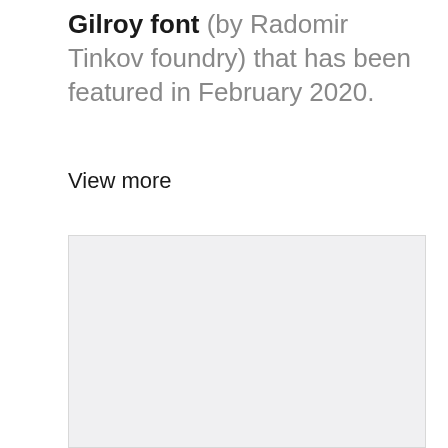Gilroy font (by Radomir Tinkov foundry) that has been featured in February 2020.
View more
[Figure (other): A light gray rectangular placeholder image box with a thin border.]